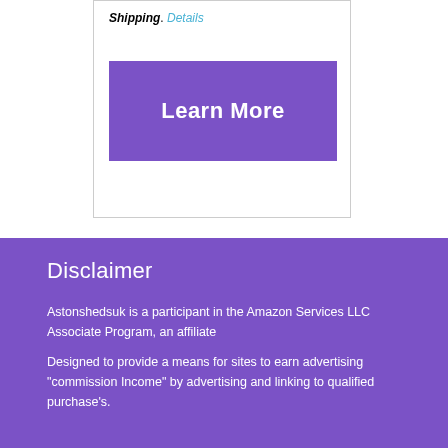Shipping. Details
Learn More
Disclaimer
Astonshedsuk is a participant in the Amazon Services LLC Associate Program, an affiliate
Designed to provide a means for sites to earn advertising "commission Income"  by advertising and linking to qualified purchase's.